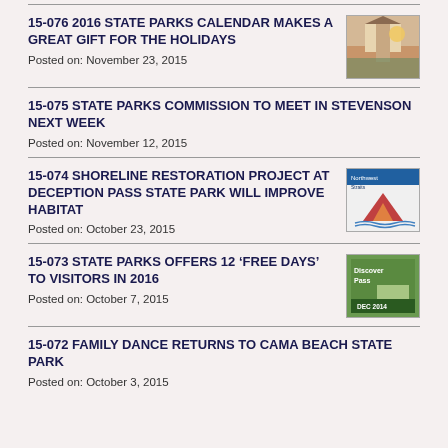15-076 2016 STATE PARKS CALENDAR MAKES A GREAT GIFT FOR THE HOLIDAYS
Posted on: November 23, 2015
[Figure (photo): Thumbnail image for 2016 State Parks Calendar article, showing a lighthouse or park building at sunset]
15-075 STATE PARKS COMMISSION TO MEET IN STEVENSON NEXT WEEK
Posted on: November 12, 2015
15-074 SHORELINE RESTORATION PROJECT AT DECEPTION PASS STATE PARK WILL IMPROVE HABITAT
Posted on: October 23, 2015
[Figure (photo): Thumbnail image for Shoreline Restoration Project article, showing Northwest Straits logo with mountain/wave graphic]
15-073 STATE PARKS OFFERS 12 ‘FREE DAYS’ TO VISITORS IN 2016
Posted on: October 7, 2015
[Figure (photo): Thumbnail image for Free Days article, showing a Discover Pass graphic with DEC 2014 text]
15-072 FAMILY DANCE RETURNS TO CAMA BEACH STATE PARK
Posted on: October 3, 2015